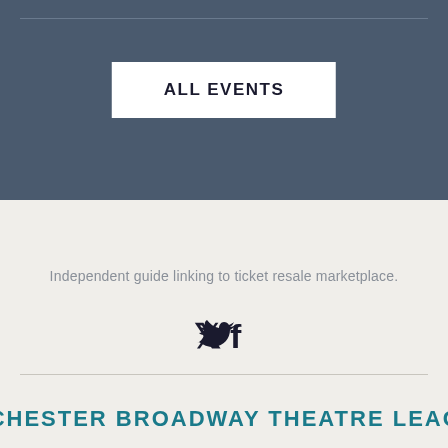ALL EVENTS
Independent guide linking to ticket resale marketplace.
[Figure (illustration): Twitter and Facebook social media icons]
ROCHESTER BROADWAY THEATRE LEAGUE